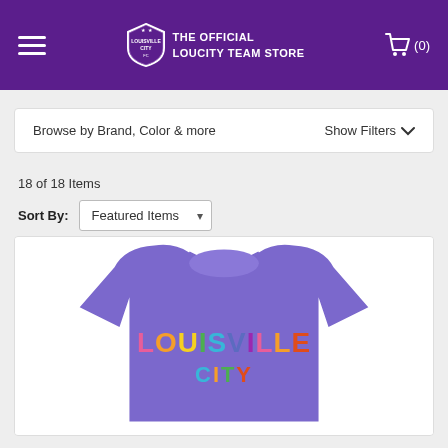THE OFFICIAL LOUCITY TEAM STORE
Browse by Brand, Color & more   Show Filters
18 of 18 Items
Sort By: Featured Items
[Figure (photo): Purple Louisville City FC t-shirt with rainbow-colored LOUISVILLE CITY text on front]